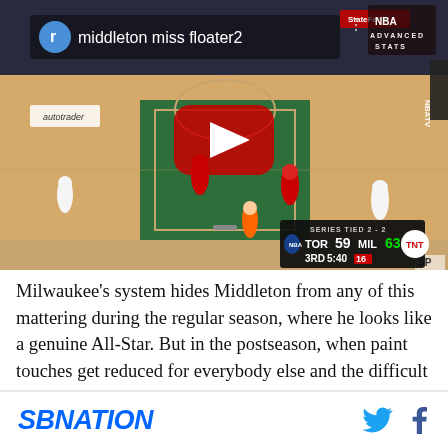[Figure (screenshot): YouTube video thumbnail showing NBA basketball game between Toronto Raptors (TOR 59) and Milwaukee Bucks (MIL 63) in the 3rd quarter with 5:40 remaining. Score overlay shows SERIES TIED 2-2. Red YouTube play button centered. Title bar shows 'middleton miss floater2'.]
Milwaukee's system hides Middleton from any of this mattering during the regular season, where he looks like a genuine All-Star. But in the postseason, when paint touches get reduced for everybody else and the difficult shots he spent the whole year dining out on stop dropping, Middleton shrivels into a role-player,
SBNATION